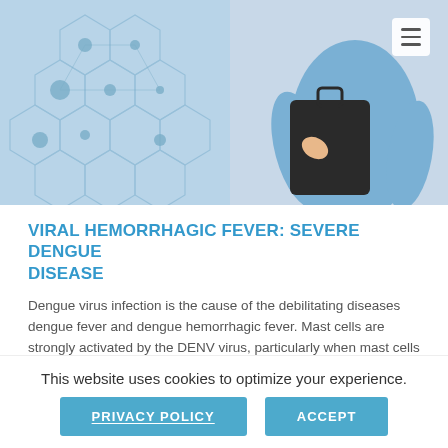[Figure (photo): Person in blue shirt holding a dark briefcase/folder, with a blue hexagonal network pattern on the left side background.]
VIRAL HEMORRHAGIC FEVER: SEVERE DENGUE DISEASE
Dengue virus infection is the cause of the debilitating diseases dengue fever and dengue hemorrhagic fever. Mast cells are strongly activated by the DENV virus, particularly when mast cells are sensitized with heterologous anti-DENV anti-bodies during secondary infection, which results in activation and degranulation of potent vasoactive mediators that act directly on the vascular endothelium and induce vascular leakage. Our mast cell targeted therapy with a rapid
This website uses cookies to optimize your experience.
PRIVACY POLICY
ACCEPT